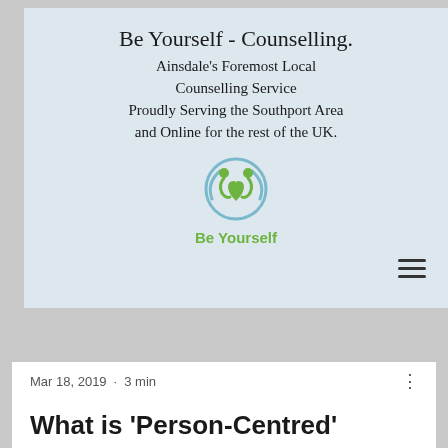[Figure (logo): Be Yourself Counselling website header with logo. Title: 'Be Yourself - Counselling.' Subtitle: Ainsdale's Foremost Local Counselling Service Proudly Serving the Southport Area and Online for the rest of the UK. Green and blue circular logo with two figures and a heart, text 'Be Yourself'. Hamburger menu icon top right.]
Post
Mar 18, 2019  ·  3 min
What is 'Person-Centred' Therapy?